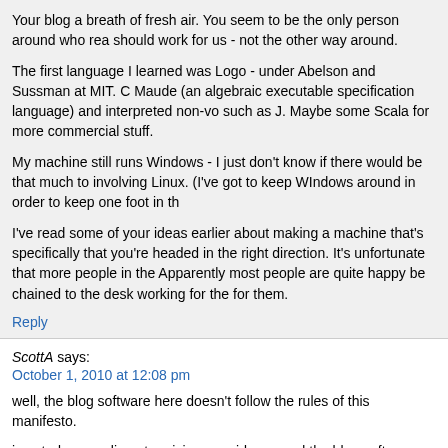Your blog a breath of fresh air. You seem to be the only person around who rea should work for us - not the other way around.
The first language I learned was Logo - under Abelson and Sussman at MIT. C Maude (an algebraic executable specification language) and interpreted non-vo such as J. Maybe some Scala for more commercial stuff.
My machine still runs Windows - I just don't know if there would be that much to involving Linux. (I've got to keep WIndows around in order to keep one foot in th
I've read some of your ideas earlier about making a machine that's specifically that you're headed in the right direction. It's unfortunate that more people in the Apparently most people are quite happy be chained to the desk working for the for them.
Reply
ScottA says:
October 1, 2010 at 12:08 pm
well, the blog software here doesn't follow the rules of this manifesto.
i posted a compliment praising your ideas - and the blog software ate it - and i d
maybe i didn't do the captcha right. it was damn near unreadable.
i am soooo tired of spending such a large chunk of my computing time fighting
whatever.